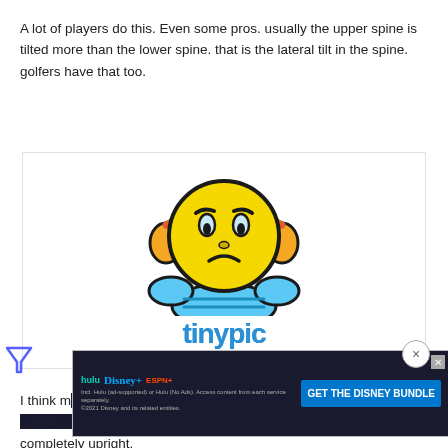A lot of players do this. Even some pros. usually the upper spine is tilted more than the lower spine. that is the lateral tilt in the spine. golfers have that too.
[Figure (illustration): Tinypic placeholder image showing a frustrated/angry emoji character with headphones and blue hands, with the Tinypic logo below it. Text reads: 'This image is no longer available. Visit tinypic.com for more information.']
[Figure (screenshot): Advertisement banner for Disney Bundle (Hulu, Disney+, ESPN+) with text 'GET THE DISNEY BUNDLE'. Includes logos and fine print about included services.]
I think most players have an issue with the head position, [text continues] more upright although nearly no pro keeps it completely upright.